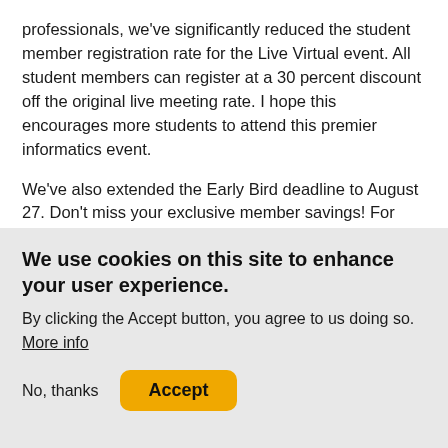professionals, we’ve significantly reduced the student member registration rate for the Live Virtual event. All student members can register at a 30 percent discount off the original live meeting rate. I hope this encourages more students to attend this premier informatics event.
We’ve also extended the Early Bird deadline to August 27. Don’t miss your exclusive member savings! For information on the pricing structure, visit the registration page. All who submitted a contribution to AMIA 2020 Annual Symposium will receive a decision from the SPC later this week.
We use cookies on this site to enhance your user experience.
By clicking the Accept button, you agree to us doing so.
More info
No, thanks  Accept